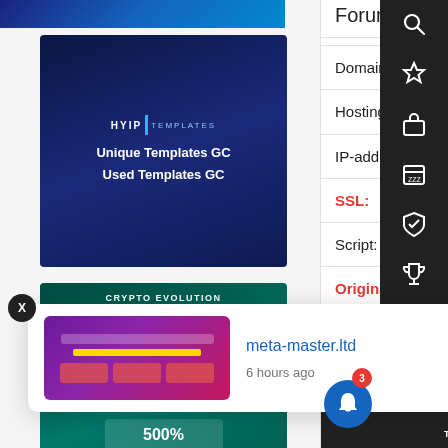[Figure (screenshot): HYIP Templates promotional card with dark blue background showing 'Unique Templates GC / Used Templates GC']
[Figure (screenshot): Crypto Evolution promotional card with teal background showing investment plans: 125%, 180%, 500%]
Forums
| Field | Value |
| --- | --- |
| Domain: | NameCheap, |
| Hosting: | 🇺🇸  Cloudflar |
| IP-address: | 104.21.65.92 |
| SSL: | R3 Let's Encr |
| Script: | Gold Coders |
| Originality: | design: 4 | te |
GENERAL INFORMATION    DEPOSITS
Seasonal
[Figure (screenshot): Notification popup showing meta-master.ltd website thumbnail, site name in blue, and '6 hours ago' timestamp with X close button]
meta-master.ltd
6 hours ago